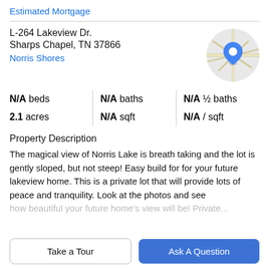Estimated Mortgage
L-264 Lakeview Dr.
Sharps Chapel, TN 37866
Norris Shores
[Figure (map): Circular map thumbnail with a blue location pin marker in center, showing road outlines on a light grey background.]
| N/A beds | N/A baths | N/A ½ baths |
| 2.1 acres | N/A sqft | N/A / sqft |
Property Description
The magical view of Norris Lake is breath taking and the lot is gently sloped, but not steep! Easy build for for your future lakeview home. This is a private lot that will provide lots of peace and tranquility. Look at the photos and see
how beautiful your future home's view will be! Private...
Take a Tour
Ask A Question